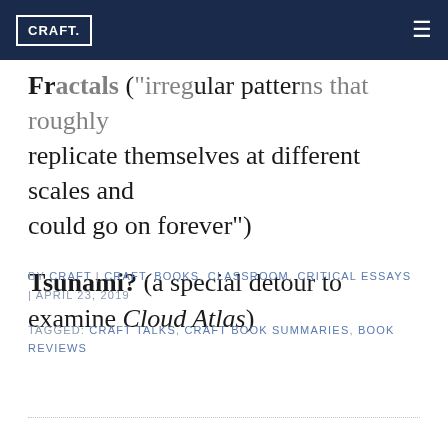CRAFT.
Fractals ("irregular patterns that roughly replicate themselves at different scales and could go on forever")
Tsunami? (a special detour to examine Cloud Atlas)
BY CRAFT | CRAFT, BOOKS, CLASSROOM, CRITICAL ESSAYS | APRIL 23, 2019
TAGGED: CRAFT TALKS, CRAFT BOOK SUMMARIES, BOOK REVIEWS